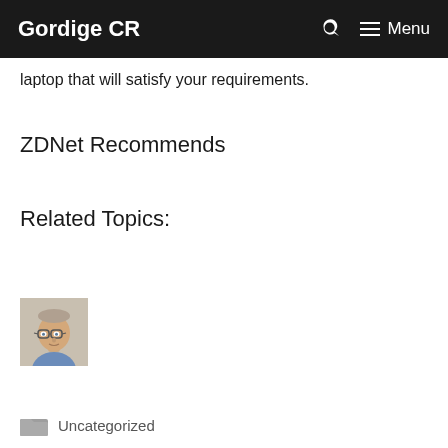Gordige CR   Menu
laptop that will satisfy your requirements.
ZDNet Recommends
Related Topics:
[Figure (photo): Headshot photo of a middle-aged man wearing glasses and a blue shirt, light background]
Uncategorized